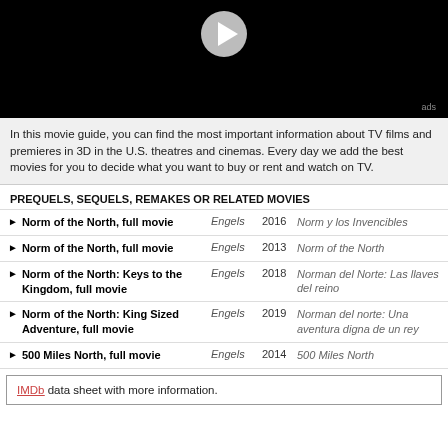[Figure (screenshot): Black video player area with white play button icon and 'ads' label in bottom right]
In this movie guide, you can find the most important information about TV films and premieres in 3D in the U.S. theatres and cinemas. Every day we add the best movies for you to decide what you want to buy or rent and watch on TV.
PREQUELS, SEQUELS, REMAKES OR RELATED MOVIES
Norm of the North, full movie  Engels  2016  Norm y los Invencibles
Norm of the North, full movie  Engels  2013  Norm of the North
Norm of the North: Keys to the Kingdom, full movie  Engels  2018  Norman del Norte: Las llaves del reino
Norm of the North: King Sized Adventure, full movie  Engels  2019  Norman del norte: Una aventura digna de un rey
500 Miles North, full movie  Engels  2014  500 Miles North
IMDb data sheet with more information.